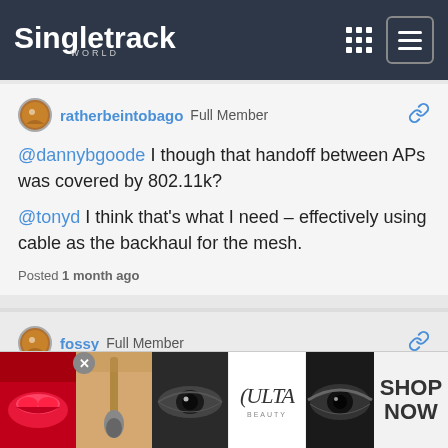Singletrack World
ratherbeintobago  Full Member
@dannybgoode I though that handoff between APs was covered by 802.11k?
@tonyd I think that's what I need – effectively using cable as the backhaul for the mesh.
Posted 1 month ago
fossy  Full Member
My 'adult' kids gaming setups are ethernet. Used 'flat cables' up the side of the understair's cupboard
[Figure (advertisement): Ulta Beauty advertisement banner with cosmetics images (lips, brush, eyes) and SHOP NOW call to action]